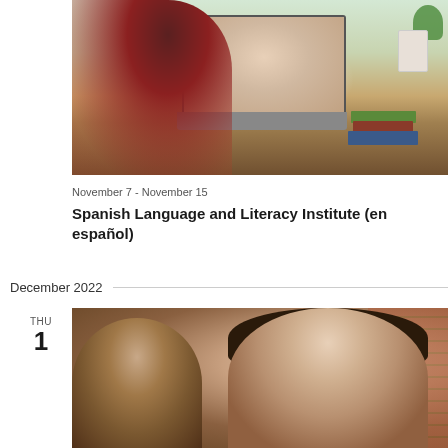[Figure (photo): Person sitting at desk watching an online class on a laptop, with books, pencils, and a plant in background]
November 7 - November 15
Spanish Language and Literacy Institute (en español)
December 2022
THU
1
[Figure (photo): Group of students in a classroom, diverse group, brick wall in background]